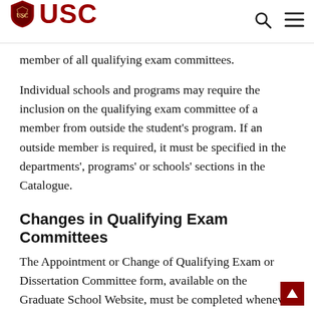USC
member of all qualifying exam committees.
Individual schools and programs may require the inclusion on the qualifying exam committee of a member from outside the student’s program. If an outside member is required, it must be specified in the departments’, programs’ or schools’ sections in the Catalogue.
Changes in Qualifying Exam Committees
The Appointment or Change of Qualifying Exam or Dissertation Committee form, available on the Graduate School Website, must be completed whenever a change is made in a qualifying exam committee. All such changes must be made in advance of the qualifying examinations. Informal substitutions